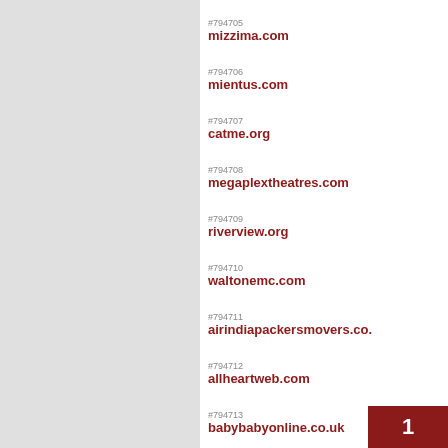#794705 mizzima.com
#794706 mientus.com
#794707 catme.org
#794708 megaplextheatres.com
#794709 riverview.org
#794710 waltonemc.com
#794711 airindiapackersmovers.co.
#794712 allheartweb.com
#794713 babybabyonline.co.uk
#794714 basketsca.ca
#794715 bollywoodbiography.in
#794716 chrishallnaples.com
#794717 hostrt.in
1